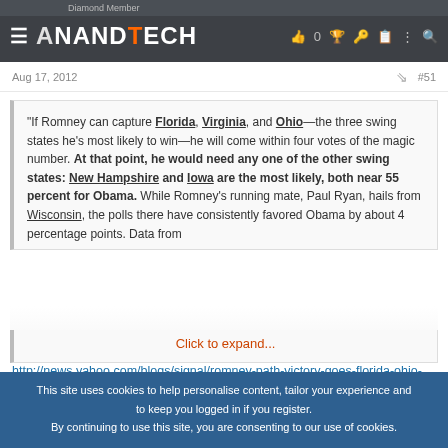AnandTech - Diamond Member - Aug 17, 2012 #51
Aug 17, 2012   #51
"If Romney can capture Florida, Virginia, and Ohio&#8212;the three swing states he's most likely to win&#8212;he will come within four votes of the magic number. At that point, he would need any one of the other swing states: New Hampshire and Iowa are the most likely, both near 55 percent for Obama. While Romney's running mate, Paul Ryan, hails from Wisconsin, the polls there have consistently favored Obama by about 4 percentage points. Data from
Click to expand...
http://news.yahoo.com/blogs/signal/romney-path-victory-goes-florida-ohio-virginia-172824466.html
This site uses cookies to help personalise content, tailor your experience and to keep you logged in if you register.
By continuing to use this site, you are consenting to our use of cookies.